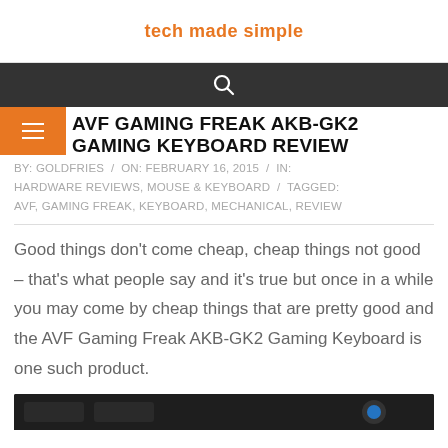tech made simple
AVF GAMING FREAK AKB-GK2 GAMING KEYBOARD REVIEW
BY: GOLDFRIES / ON: FEBRUARY 16, 2015 / IN: HARDWARE REVIEWS, MOUSE & KEYBOARD / TAGGED: AVF, GAMING FREAK, KEYBOARD, MECHANICAL, REVIEW
Good things don't come cheap, cheap things not good – that's what people say and it's true but once in a while you may come by cheap things that are pretty good and the AVF Gaming Freak AKB-GK2 Gaming Keyboard is one such product.
[Figure (photo): Bottom portion of a product image, partially visible at the bottom of the page]